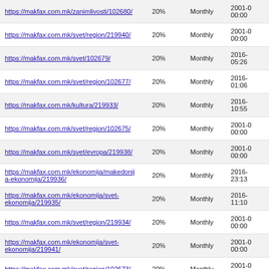| URL | Priority | Change Frequency | Last Modified |
| --- | --- | --- | --- |
| https://makfax.com.mk/zanimlivosti/102680/ | 20% | Monthly | 2001-0… 00:00 |
| https://makfax.com.mk/svet/region/219940/ | 20% | Monthly | 2001-0… 00:00 |
| https://makfax.com.mk/svet/102679/ | 20% | Monthly | 2016-… 05:26 |
| https://makfax.com.mk/svet/region/102677/ | 20% | Monthly | 2016-… 01:06 |
| https://makfax.com.mk/kultura/219933/ | 20% | Monthly | 2016-… 10:55 |
| https://makfax.com.mk/svet/region/102675/ | 20% | Monthly | 2001-0… 00:00 |
| https://makfax.com.mk/svet/evropa/219938/ | 20% | Monthly | 2001-0… 00:00 |
| https://makfax.com.mk/ekonomija/makedonija-ekonomija/219936/ | 20% | Monthly | 2016-… 23:13 |
| https://makfax.com.mk/ekonomija/svet-ekonomija/219935/ | 20% | Monthly | 2016-… 11:10 |
| https://makfax.com.mk/svet/region/219934/ | 20% | Monthly | 2001-0… 00:00 |
| https://makfax.com.mk/ekonomija/svet-ekonomija/219941/ | 20% | Monthly | 2001-0… 00:00 |
| https://makfax.com.mk/svet/region/102673/ | 20% | Monthly | 2001-0… 00:00 |